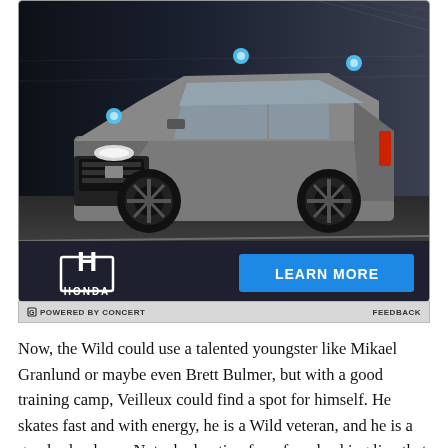[Figure (photo): Honda SUV advertisement showing a gray Honda crossover SUV driving on a road with a dark background, blue interactive dots overlaid, Honda logo, and a blue 'LEARN MORE' button]
POWERED BY CONCERT   FEEDBACK
Now, the Wild could use a talented youngster like Mikael Granlund or maybe even Brett Bulmer, but with a good training camp, Veilleux could find a spot for himself. He skates fast and with energy, he is a Wild veteran, and he is a good role player. Not a bad option for a forechecking line that kills good minutes.